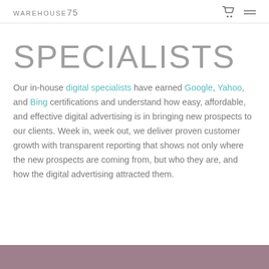WAREHOUSE75
SPECIALISTS
Our in-house digital specialists have earned Google, Yahoo, and Bing certifications and understand how easy, affordable, and effective digital advertising is in bringing new prospects to our clients. Week in, week out, we deliver proven customer growth with transparent reporting that shows not only where the new prospects are coming from, but who they are, and how the digital advertising attracted them.